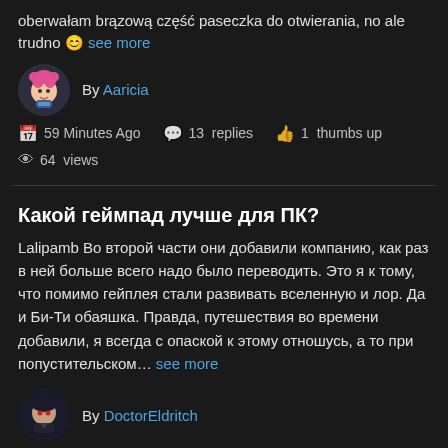oberwałam brązową część paseczka do otwierania, no ale trudno 😊 see more
By Aaricia
59 Minutes Ago   13 replies   1 thumbs up
64 views
Какой геймпад лучше для ПК?
Lalipamb Во второй части они добавили компанию, как раз в ней больше всего надо было переводить. Это я к тому, что помимо гейплея стали развивать вселенную и лор. Да и Би-Ти обаяшка. Правда, путешествия во времени добавили, я всегда с опаской к этому отношусь, а то при попустительском... see more
By DoctorEldritch
1 Hour Ago   7 replies   0 thumbs up